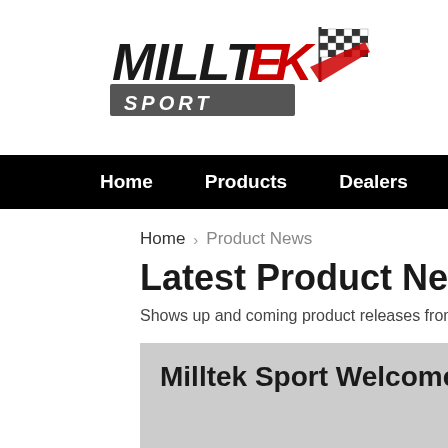[Figure (logo): Milltek Sport logo with checkered flag graphic, bold italic lettering MILLTEK in black with red K, SPORT in grey italic below]
Home   Products   Dealers   News   Ev…
Home   Product News
Latest Product News from Milltĕ…
Shows up and coming product releases from Milltek Spo…
Milltek Sport Welcomes A Ne…